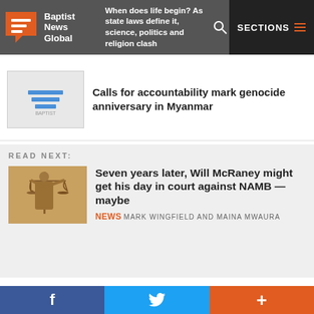Baptist News Global | When does life begin? As state laws define it, science, politics and religion clash | SECTIONS
[Figure (logo): Baptist News Global logo - orange speech bubble icon with white lines, white text reading Baptist News Global]
When does life begin? As state laws define it, science, politics and religion clash
[Figure (photo): Baptist News Global logo placeholder thumbnail with blue lines on white background, text BAPTIST]
Calls for accountability mark genocide anniversary in Myanmar
READ NEXT:
[Figure (photo): Justice statue holding scales, bronze tone, blurred background]
Seven years later, Will McRaney might get his day in court against NAMB — maybe
NEWS MARK WINGFIELD AND MAINA MWAURA
More Articles
ALL | NEWS | OPINION | CURATED